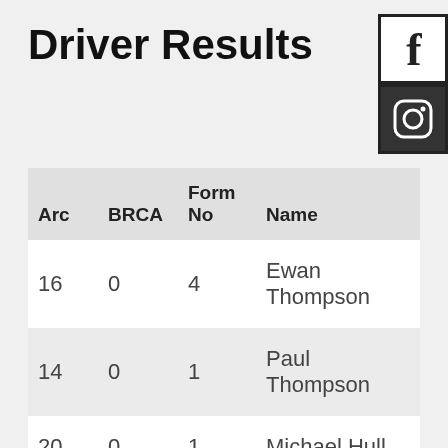Driver Results
| Arc | BRCA | Form No | Name | Cla No |
| --- | --- | --- | --- | --- |
| 16 | 0 | 4 | Ewan Thompson | 1 |
| 14 | 0 | 1 | Paul Thompson | 1 |
| 20 | 0 | 1 | Michael Hull | 1 |
| 10 | 0 | 1 | Simon Sennitt | 1 |